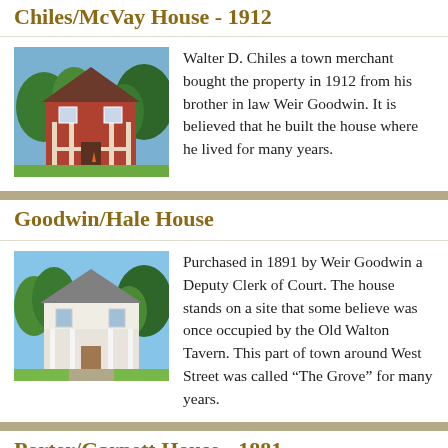Chiles/McVay House - 1912
[Figure (photo): Photo of Chiles/McVay House, a red brick two-story house with trees]
Walter D. Chiles a town merchant bought the property in 1912 from his brother in law Weir Goodwin. It is believed that he built the house where he lived for many years.
Goodwin/Hale House
[Figure (photo): Photo of Goodwin/Hale House, a white house with trees]
Purchased in 1891 by Weir Goodwin a Deputy Clerk of Court. The house stands on a site that some believe was once occupied by the Old Walton Tavern. This part of town around West Street was called “The Grove” for many years.
Porter/Garnett House - 1881
[Figure (photo): Partial photo of Porter/Garnett House at bottom of page]